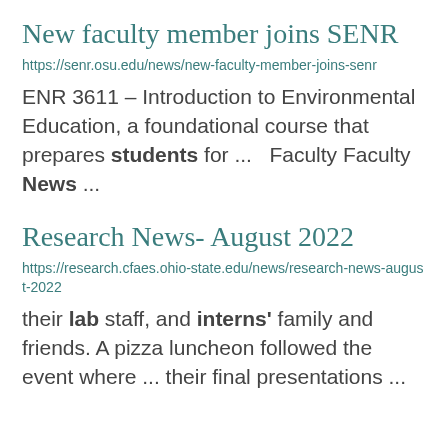New faculty member joins SENR
https://senr.osu.edu/news/new-faculty-member-joins-senr
ENR 3611 – Introduction to Environmental Education, a foundational course that prepares students for ...  Faculty Faculty News ...
Research News- August 2022
https://research.cfaes.ohio-state.edu/news/research-news-august-2022
their lab staff, and interns' family and friends. A pizza luncheon followed the event where ... their final presentations ...